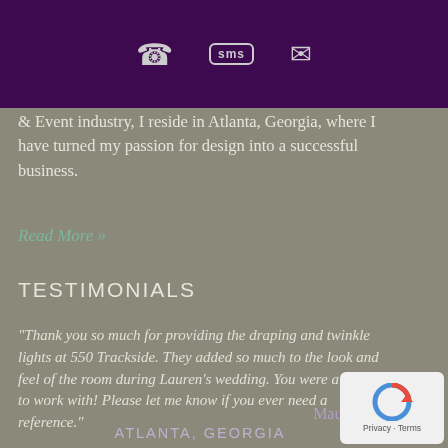[Figure (screenshot): Purple header bar with phone icon, SMS bubble icon, and email/envelope icon centered on a dark purple background]
& Event industry, I reside in Atlanta, Georgia, where I have turned my passion for design into a successful business.
Read More »
TESTIMONIALS
"Thank you so much for providing the draping and twinkle lights at 550 Trackside. They added so much to the look and feel of the room during Lauren's wedding. You were a delight to work with! Please let me know if you ever need a reference."
Maureen
ATLANTA, GEORGIA
[Figure (logo): reCAPTCHA privacy badge with circular arrow logo and Privacy - Terms text]